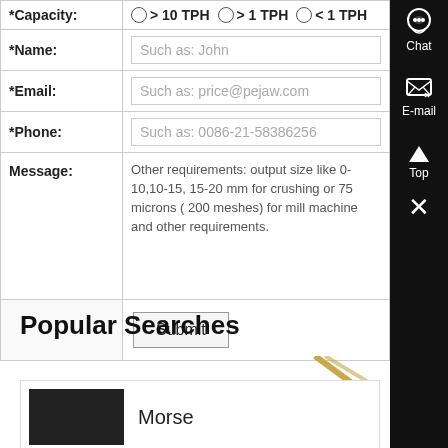| Field | Value |
| --- | --- |
| *Capacity: | > 10 TPH   > 1 TPH   < 1 TPH |
| *Name: | Such as: John |
| *Email: | Such as: price@pejaw.com |
| *Phone: | Such as: 0086-21-58386256 |
| Message: | Other requirements: output size like 0-10,10-15, 15-20 mm for crushing or 75 microns ( 200 meshes) for mill machine and other requirements. |
|  | Submit |
Popular Searches
[Figure (photo): Small dark product image thumbnail]
Morse